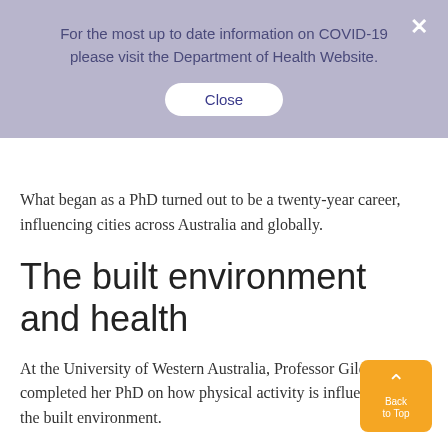For the most up to date information on COVID-19 please visit the Department of Health Website.
Close
What began as a PhD turned out to be a twenty-year career, influencing cities across Australia and globally.
The built environment and health
At the University of Western Australia, Professor Giles-Corti completed her PhD on how physical activity is influenced by the built environment.